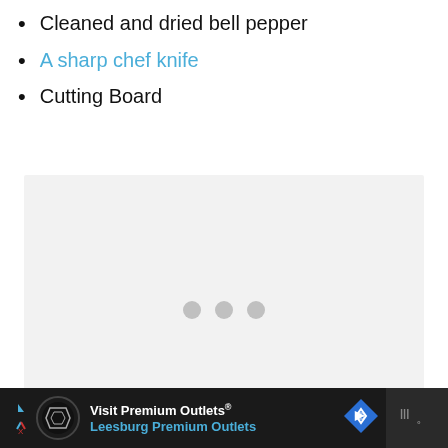Cleaned and dried bell pepper
A sharp chef knife
Cutting Board
[Figure (other): Light gray placeholder image area with three gray loading dots centered in the middle]
[Figure (other): Advertisement banner: Visit Premium Outlets® Leesburg Premium Outlets with logo, navigation icon, and right panel icon]